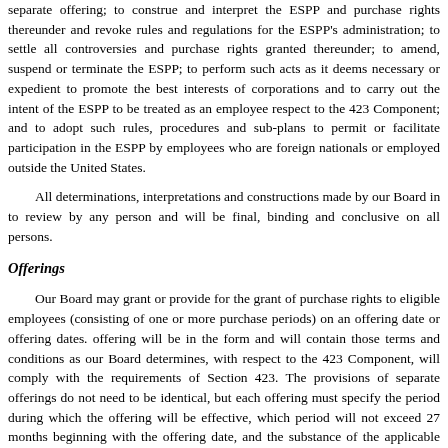separate offering; to construe and interpret the ESPP and purchase rights thereunder and revoke rules and regulations for the ESPP's administration; to settle all controversies and purchase rights granted thereunder; to amend, suspend or terminate the ESPP; to perform such acts as it deems necessary or expedient to promote the best interests of corporations and to carry out the intent of the ESPP to be treated as an employee stock purchase plan respect to the 423 Component; and to adopt such rules, procedures and sub-plans as are necessary to permit or facilitate participation in the ESPP by employees who are foreign nationals or employed outside the United States.
All determinations, interpretations and constructions made by our Board in to review by any person and will be final, binding and conclusive on all persons.
Offerings
Our Board may grant or provide for the grant of purchase rights to eligible employees (consisting of one or more purchase periods) on an offering date or offering dates. Each offering will be in the form and will contain those terms and conditions as our Board determines, and, with respect to the 423 Component, will comply with the requirements of Section 423. The provisions of separate offerings do not need to be identical, but each offering must specify the period during which the offering will be effective, which period will not exceed 27 months beginning with the offering date, and the substance of the applicable provisions contained in the ESPP.
If a participant has more than one purchase right outstanding under the ESPP and the participant indicates in forms delivered to us or a third party designee of ours: (i) each form will apply to all purchase rights under the ESPP, and (ii) a purchase right with a lower exercise price (or a later-granted purchase right, if different purchase rights have identical exercise prices) will be exercised to the fullest extent before a purchase right with a higher exercise price (or a later-granted purchase right, if different purchase rights have identical exercise prices) will be exercised.
Our Board will have the discretion to structure an offering so that if the fair